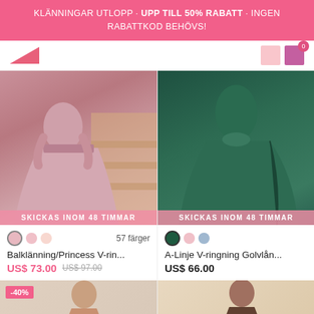KLÄNNINGAR UTLOPP · UPP TILL 50% RABATT · INGEN RABATTKOD BEHÖVS!
[Figure (screenshot): Navigation bar with pink logo arrow and cart icon showing 0 items]
[Figure (photo): Pink ball gown / princess dress on model at staircase. Label: SKICKAS INOM 48 TIMMAR]
[Figure (photo): Dark green A-line chiffon dress on model. Label: SKICKAS INOM 48 TIMMAR]
57 färger
Balklänning/Princess V-rin...
US$ 73.00  US$ 97.00
A-Linje V-ringning Golvlån...
US$ 66.00
[Figure (photo): Bottom left product thumbnail with -40% sale badge, woman in dress]
[Figure (photo): Bottom right product thumbnail, woman in dress]